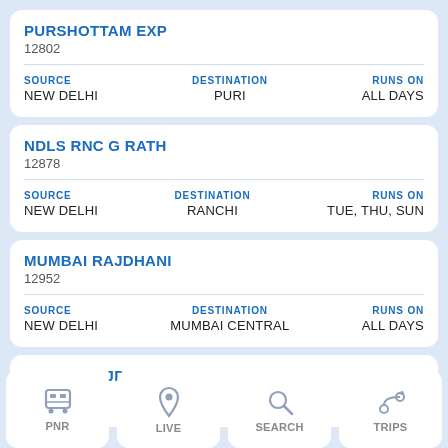PURSHOTTAM EXP
12802
SOURCE: NEW DELHI | DESTINATION: PURI | RUNS ON: ALL DAYS
NDLS RNC G RATH
12878
SOURCE: NEW DELHI | DESTINATION: RANCHI | RUNS ON: TUE, THU, SUN
MUMBAI RAJDHANI
12952
SOURCE: NEW DELHI | DESTINATION: MUMBAI CENTRAL | RUNS ON: ALL DAYS
ADL SJ RAJDHANI
17951
PNR | LIVE | SEARCH | TRIPS